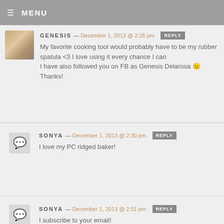MENU
GENESIS — December 1, 2013 @ 2:26 pm  REPLY
My favorite cooking tool would probably have to be my rubber spatula <3 I love using it every chance I can
I have also followed you on FB as Genesis Delarosa 🙂
Thanks!
SONYA — December 1, 2013 @ 2:30 pm  REPLY
I love my PC ridged baker!
SONYA — December 1, 2013 @ 2:31 pm  REPLY
I subscribe to your email!
ELIZABETH C. — December 1, 2013 @ 2:3…  REPLY